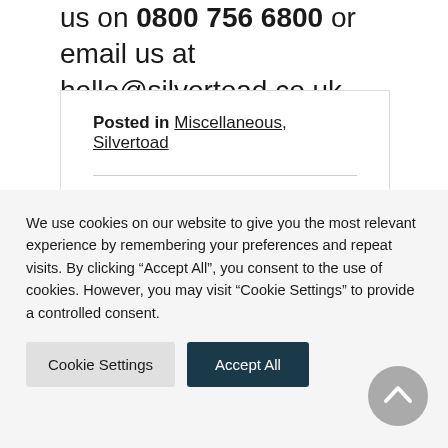us on 0800 756 6800 or email us at hello@silvertoad.co.uk
Posted in Miscellaneous, Silvertoad
Tagged helphub
We use cookies on our website to give you the most relevant experience by remembering your preferences and repeat visits. By clicking “Accept All”, you consent to the use of cookies. However, you may visit “Cookie Settings” to provide a controlled consent.